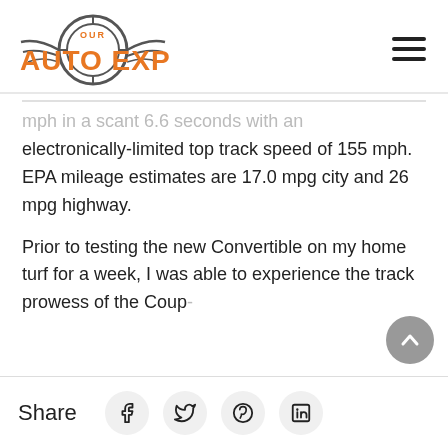[Figure (logo): Our Auto Expert logo with circular gear/wheel motif and orange text]
mph in a scant 6.6 seconds with an electronically-limited top track speed of 155 mph. EPA mileage estimates are 17.0 mpg city and 26 mpg highway.
Prior to testing the new Convertible on my home turf for a week, I was able to experience the track prowess of the Coup-
Share